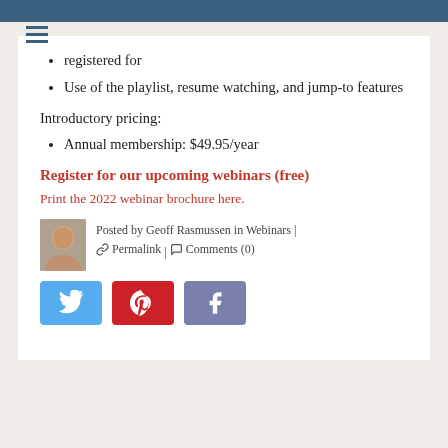registered for
Use of the playlist, resume watching, and jump-to features
Introductory pricing:
Annual membership: $49.95/year
Register for our upcoming webinars (free)
Print the 2022 webinar brochure here.
Posted by Geoff Rasmussen in Webinars | ⛓ Permalink | 💬 Comments (0)
[Figure (other): Social media share buttons: Twitter (blue), Pinterest (red), Facebook (slate blue)]